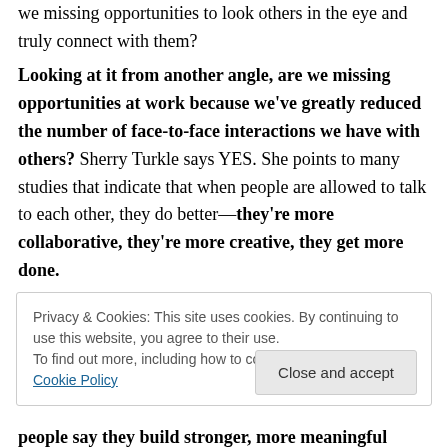we missing opportunities to look others in the eye and truly connect with them?
Looking at it from another angle, are we missing opportunities at work because we've greatly reduced the number of face-to-face interactions we have with others? Sherry Turkle says YES. She points to many studies that indicate that when people are allowed to talk to each other, they do better—they're more collaborative, they're more creative, they get more done.
Privacy & Cookies: This site uses cookies. By continuing to use this website, you agree to their use.
To find out more, including how to control cookies, see here: Cookie Policy
people say they build stronger, more meaningful business